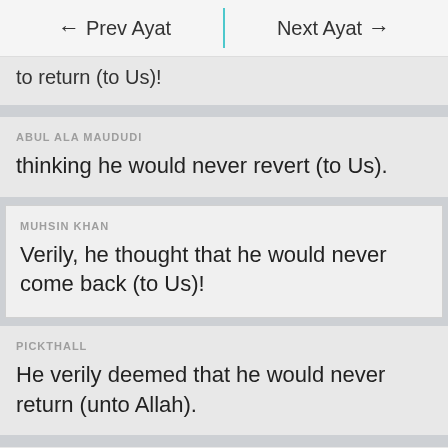← Prev Ayat | Next Ayat →
to return (to Us)!
ABUL ALA MAUDUDI
thinking he would never revert (to Us).
MUHSIN KHAN
Verily, he thought that he would never come back (to Us)!
PICKTHALL
He verily deemed that he would never return (unto Allah).
DR. GHALI